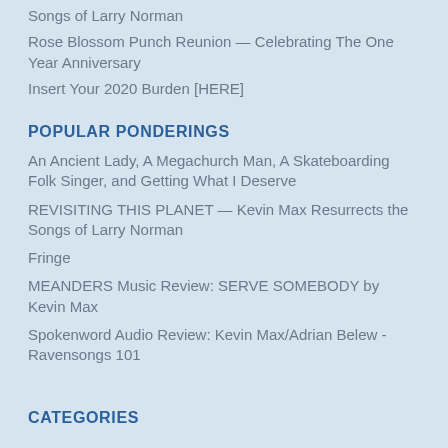Songs of Larry Norman
Rose Blossom Punch Reunion — Celebrating The One Year Anniversary
Insert Your 2020 Burden [HERE]
POPULAR PONDERINGS
An Ancient Lady, A Megachurch Man, A Skateboarding Folk Singer, and Getting What I Deserve
REVISITING THIS PLANET — Kevin Max Resurrects the Songs of Larry Norman
Fringe
MEANDERS Music Review: SERVE SOMEBODY by Kevin Max
Spokenword Audio Review: Kevin Max/Adrian Belew - Ravensongs 101
CATEGORIES